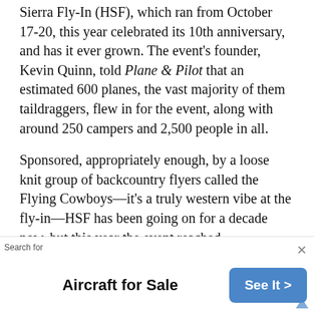Sierra Fly-In (HSF), which ran from October 17-20, this year celebrated its 10th anniversary, and has it ever grown. The event's founder, Kevin Quinn, told Plane & Pilot that an estimated 600 planes, the vast majority of them taildraggers, flew in for the event, along with around 250 campers and 2,500 people in all.
Sponsored, appropriately enough, by a loose knit group of backcountry flyers called the Flying Cowboys—it's a truly western vibe at the fly-in—HSF has been going on for a decade now, but this year the event reached
Search for  Aircraft for Sale  See It >